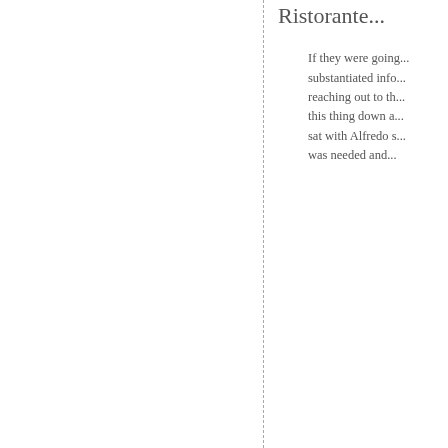overemphasize th... "I think we would... built would have b...
Lakeside Project S...
“For me, internsh... but it was more o... the SBTDC’s inte... LPS’ first interns ... content created, a... use without editin... profitable with the...
Alfredo Ristorante...
If they were going... substantiated info... reaching out to th... this thing down a... sat with Alfredo s... was needed and...